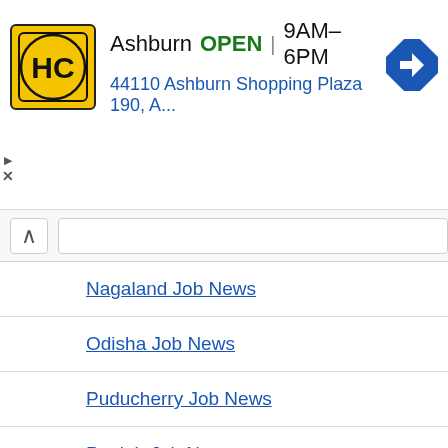[Figure (other): Advertisement banner for HC store in Ashburn. Shows logo, OPEN status, hours 9AM-6PM, address 44110 Ashburn Shopping Plaza 190, A..., and navigation icon.]
Nagaland Job News
Odisha Job News
Puducherry Job News
Punjab Job News
Rajasthan Job News
Sikkim Job News
Tamilnadu Job News
Telangana Job News